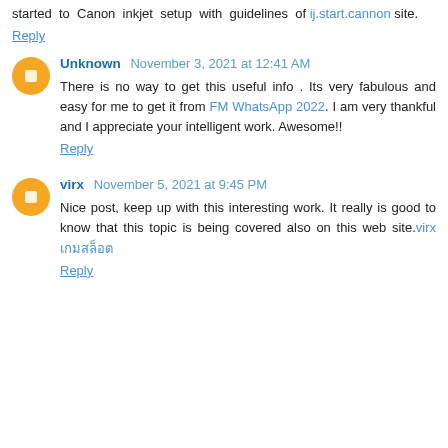started to Canon inkjet setup with guidelines of ij.start.cannon site.
Reply
Unknown November 3, 2021 at 12:41 AM
There is no way to get this useful info . Its very fabulous and easy for me to get it from FM WhatsApp 2022. I am very thankful and I appreciate your intelligent work. Awesome!!
Reply
virx November 5, 2021 at 9:45 PM
Nice post, keep up with this interesting work. It really is good to know that this topic is being covered also on this web site.virx เกมสล็อต
Reply